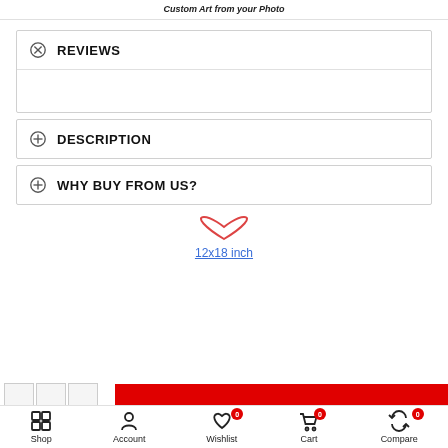Custom Art from your Photo
REVIEWS
DESCRIPTION
WHY BUY FROM US?
12x18 inch
Shop  Account  Wishlist 0  Cart 0  Compare 0